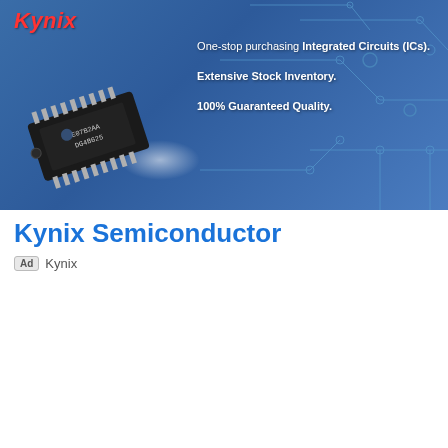[Figure (illustration): Kynix Semiconductor advertisement banner with blue circuit board background, IC chip image, Kynix logo in red italic, and three taglines: 'One-stop purchasing Integrated Circuits (ICs).', 'Extensive Stock Inventory.', '100% Guaranteed Quality.']
Kynix Semiconductor
Ad  Kynix